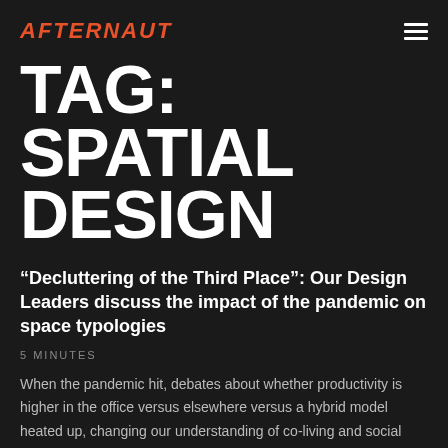AFTERNAUT
TAG: SPATIAL DESIGN
“Decluttering of the Third Place”: Our Design Leaders discuss the impact of the pandemic on space typologies
5 MINUTES
When the pandemic hit, debates about whether productivity is higher in the office versus elsewhere versus a hybrid model heated up, changing our understanding of co-living and social living spaces again. What then happens when we enter an endemic phase?